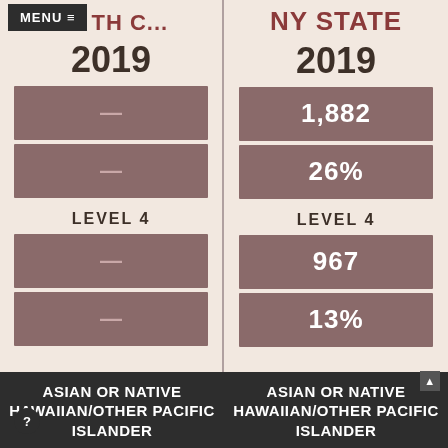MENU ≡  TH C...
NY STATE
2019
2019
| Metric | North C... | NY State |
| --- | --- | --- |
| Level 3 Count | — | 1,882 |
| Level 3 % | — | 26% |
| Level 4 Count | — | 967 |
| Level 4 % | — | 13% |
ASIAN OR NATIVE HAWAIIAN/OTHER PACIFIC ISLANDER
ASIAN OR NATIVE HAWAIIAN/OTHER PACIFIC ISLANDER